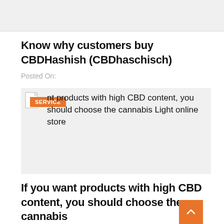[Figure (other): Gray header bar area at the top of the page]
Know why customers buy CBDHashish (CBDhaschisch)
Posted On:
[Figure (other): Gray image placeholder with SERVICE badge overlay and text: 'nt products with high CBD content, you should choose the cannabis Light online store']
If you want products with high CBD content, you should choose the cannabis